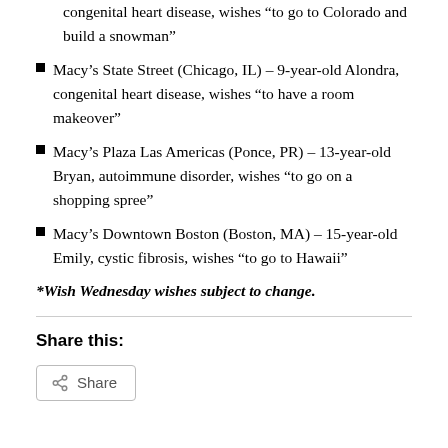congenital heart disease, wishes “to go to Colorado and build a snowman”
Macy’s State Street (Chicago, IL) – 9-year-old Alondra, congenital heart disease, wishes “to have a room makeover”
Macy’s Plaza Las Americas (Ponce, PR) – 13-year-old Bryan, autoimmune disorder, wishes “to go on a shopping spree”
Macy’s Downtown Boston (Boston, MA) – 15-year-old Emily, cystic fibrosis, wishes “to go to Hawaii”
*Wish Wednesday wishes subject to change.
Share this:
Share